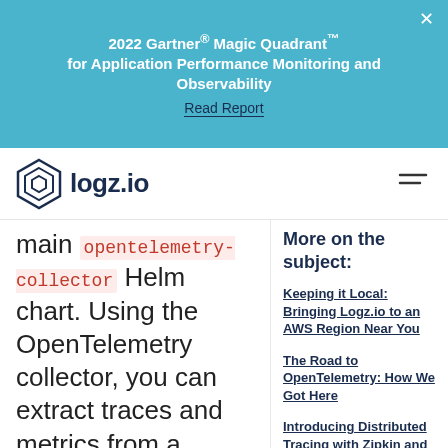2022 Gartner® Magic Quadrant™ for Application Performance Monitoring and Observability
Read Report
[Figure (logo): logz.io logo with hexagon icon and hamburger menu icon]
main opentelemetry-collector Helm chart. Using the OpenTelemetry collector, you can extract traces and metrics from a number of data points in Kubernetes:
More on the subject:
Keeping it Local: Bringing Logz.io to an AWS Region Near You
The Road to OpenTelemetry: How We Got Here
Introducing Distributed Tracing with Zipkin and